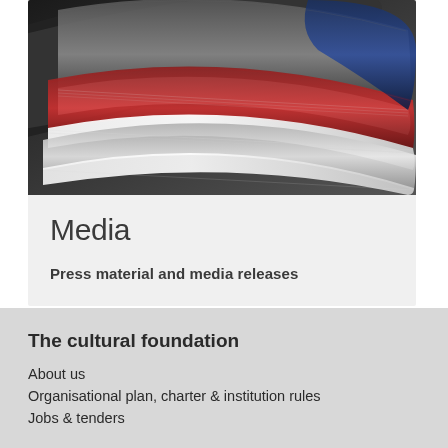[Figure (photo): Stacked and fanned-out magazines photographed close-up, showing colorful spines and pages curling, in shades of red, blue, black, and white.]
Media
Press material and media releases
The cultural foundation
About us
Organisational plan, charter & institution rules
Jobs & tenders